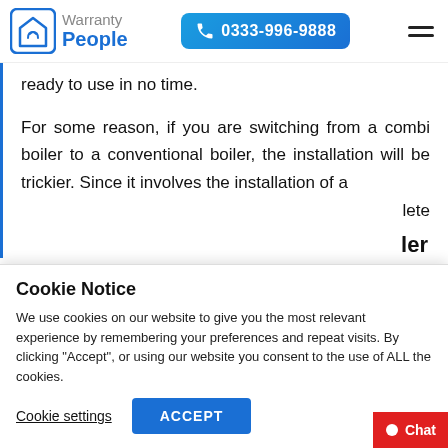Warranty People | 0333-996-9888
ready to use in no time.
For some reason, if you are switching from a combi boiler to a conventional boiler, the installation will be trickier. Since it involves the installation of a ... lete
Cookie Notice
We use cookies on our website to give you the most relevant experience by remembering your preferences and repeat visits. By clicking “Accept”, or using our website you consent to the use of ALL the cookies.
Cookie settings
ACCEPT
Chat